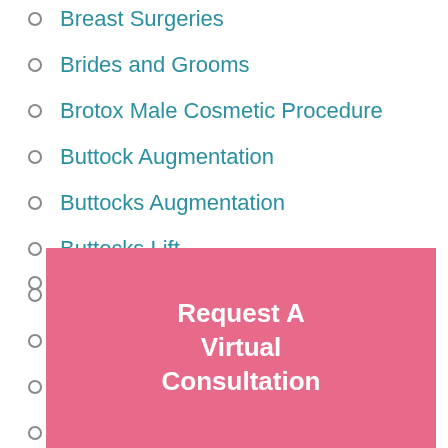Breast Surgeries
Brides and Grooms
Brotox Male Cosmetic Procedure
Buttock Augmentation
Buttocks Augmentation
Buttocks Lift
Cancer
Chin Augmentation with Implants
Choosing a Plastic Surgeon
couples
...s
Request A Virtual Consultation